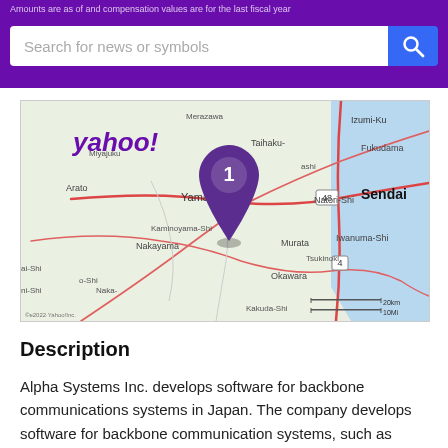Amounts are as of and compensation values are for the last fiscal year
[Figure (other): Search bar with purple background: 'Search for news or symbols' input field and blue search button with magnifying glass icon]
[Figure (map): Yahoo map showing region around Yamagata-Shi and Sendai in Japan, with a purple location pin marker labeled '1'. Map shows cities including Taihaku, Izumi-Ku, Miyajuku, Fukudama, Arato, Natori-Shi, Kaminoyama-Shi, Nakayama, Murata, Iwanuma-Shi, Tsukinoki, Okawara, Kakuda-Shi. Scale bar shows 20km / 10Mi. Yahoo logo visible top-left with copyright 2022 Yahoo! Inc.]
Description
Alpha Systems Inc. develops software for backbone communications systems in Japan. The company develops software for backbone communication systems, such as node systems, mobile network systems, and network management systems. It also develops open systems, including portal sites for online businesses and related work-process systems; online